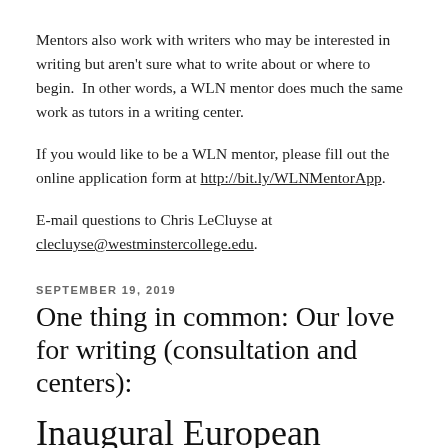Mentors also work with writers who may be interested in writing but aren't sure what to write about or where to begin.  In other words, a WLN mentor does much the same work as tutors in a writing center.
If you would like to be a WLN mentor, please fill out the online application form at http://bit.ly/WLNMentorApp.
E-mail questions to Chris LeCluyse at clecluyse@westminstercollege.edu.
SEPTEMBER 19, 2019
One thing in common: Our love for writing (consultation and centers):
Inaugural European Writing